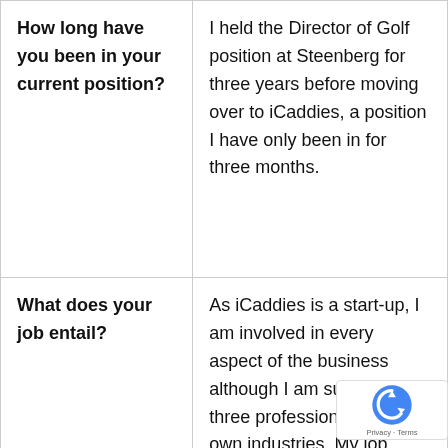| How long have you been in your current position? | I held the Director of Golf position at Steenberg for three years before moving over to iCaddies, a position I have only been in for three months. |
| What does your job entail? | As iCaddies is a start-up, I am involved in every aspect of the business although I am supported by three professionals in their own industries. My job entails setting up and providing information on the iCadd... |